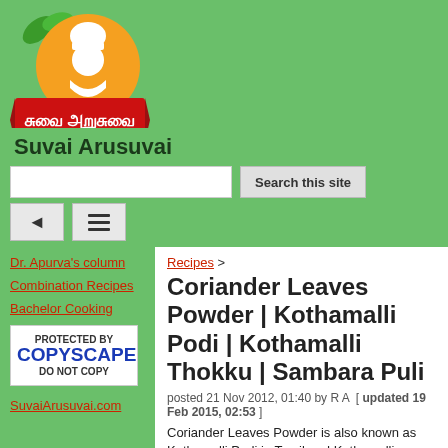[Figure (logo): Suvai Arusuvai website logo: orange circle with white chef figure, green leaves, red banner with Tamil text 'சுவை அறுசுவை']
Suvai Arusuvai
Search this site
Dr. Apurva's column
Combination Recipes
Bachelor Cooking
[Figure (other): Copyscape badge: PROTECTED BY COPYSCAPE DO NOT COPY]
SuvaiArusuvai.com
Recipes >
Coriander Leaves Powder | Kothamalli Podi | Kothamalli Thokku | Sambara Puli
posted 21 Nov 2012, 01:40 by R A  [ updated 19 Feb 2015, 02:53 ]
Coriander Leaves Powder is also known as Kothamalli Podi in Tamil and Kothamalli